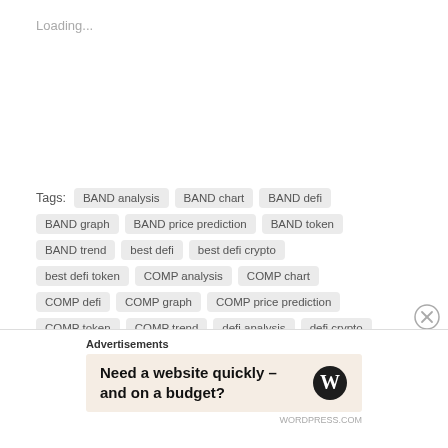Loading...
Tags: BAND analysis  BAND chart  BAND defi  BAND graph  BAND price prediction  BAND token  BAND trend  best defi  best defi crypto  best defi token  COMP analysis  COMP chart  COMP defi  COMP graph  COMP price prediction  COMP token  COMP trend  defi analysis  defi crypto  defi cryptocurrency  defi list  defi market  defi report
Advertisements
Need a website quickly – and on a budget?